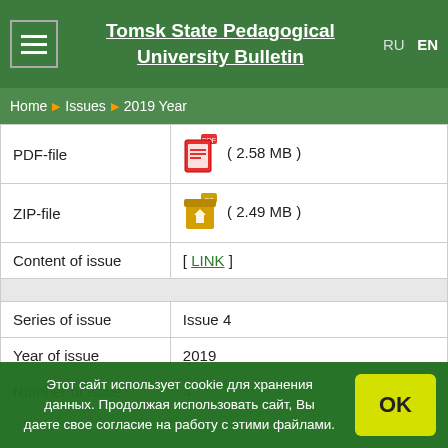Tomsk State Pedagogical University Bulletin
Home ▶ Issues ▶ 2019 Year
|  |  |
| --- | --- |
| PDF-file | ( 2.58 MB ) |
| ZIP-file | ( 2.49 MB ) |
| Content of issue | [ LINK ] |
|  |  |
| Series of issue | Issue 4 |
| Year of issue | 2019 |
| Number of issue | 4 |
| Absolute number of issue | 201 |
| Volume | 166 |
Этот сайт использует cookie для хранения данных. Продолжая использовать сайт, Вы даете свое согласие на работу с этими файлами.